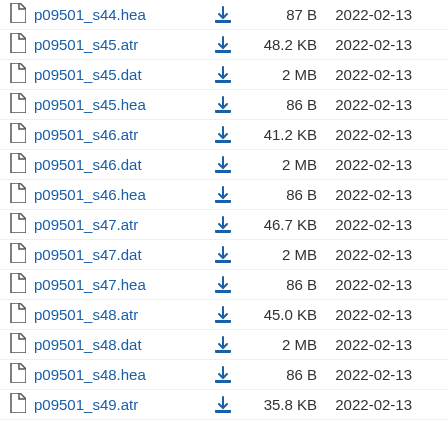p09501_s44.hea  87 B  2022-02-13
p09501_s45.atr  48.2 KB  2022-02-13
p09501_s45.dat  2 MB  2022-02-13
p09501_s45.hea  86 B  2022-02-13
p09501_s46.atr  41.2 KB  2022-02-13
p09501_s46.dat  2 MB  2022-02-13
p09501_s46.hea  86 B  2022-02-13
p09501_s47.atr  46.7 KB  2022-02-13
p09501_s47.dat  2 MB  2022-02-13
p09501_s47.hea  86 B  2022-02-13
p09501_s48.atr  45.0 KB  2022-02-13
p09501_s48.dat  2 MB  2022-02-13
p09501_s48.hea  86 B  2022-02-13
p09501_s49.atr  35.8 KB  2022-02-13